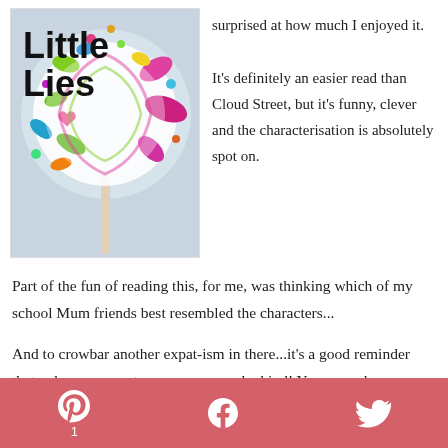[Figure (illustration): Book cover for 'Little Lies' featuring a colorful lollipop with confetti exploding outward on a light grey background. The title 'Little Lies' is written in bold black text.]
surprised at how much I enjoyed it.

It's definitely an easier read than Cloud Street, but it's funny, clever and the characterisation is absolutely spot on.
Part of the fun of reading this, for me, was thinking which of my school Mum friends best resembled the characters...
And to crowbar another expat-ism in there...it's a good reminder that, when you meet someone new – be kind! You never know what's going on with them. Ok, that's not really
Pinterest 1  Facebook  Twitter